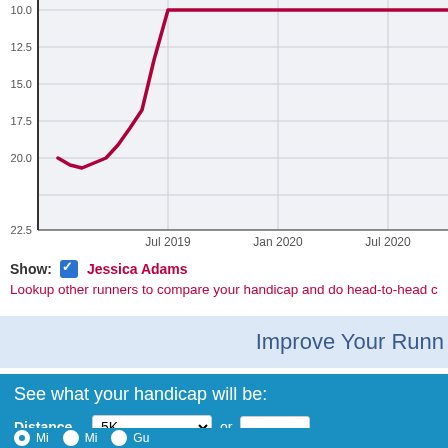[Figure (line-chart): Line chart showing handicap history for Jessica Adams from ~2019 to 2021. Y-axis inverted (lower handicap is better, at top). Values start around 20.0 in early 2019, improve steeply to ~10.0 by mid-2019, plateau around 10.0 through 2020-2021.]
Show: ✓ Jessica Adams
Lookup other runners to compare your handicap and do head-to-head c...
Improve Your Runn...
See what your handicap will be:
Distance  5K  or